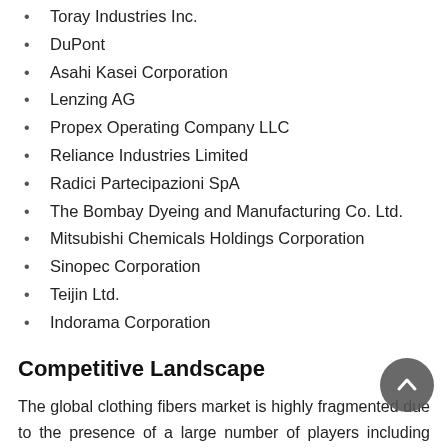Toray Industries Inc.
DuPont
Asahi Kasei Corporation
Lenzing AG
Propex Operating Company LLC
Reliance Industries Limited
Radici Partecipazioni SpA
The Bombay Dyeing and Manufacturing Co. Ltd.
Mitsubishi Chemicals Holdings Corporation
Sinopec Corporation
Teijin Ltd.
Indorama Corporation
Competitive Landscape
The global clothing fibers market is highly fragmented due to the presence of a large number of players including small and medium enterprises. However, major players continue to have a strong foothold in the market owing to extensive production capacities and global reach. These companies adopt conventional strategies such as expanding production capacities, regional expansion, and